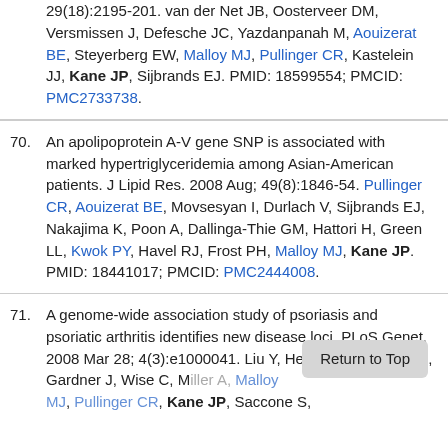29(18):2195-201. van der Net JB, Oosterveer DM, Versmissen J, Defesche JC, Yazdanpanah M, Aouizerat BE, Steyerberg EW, Malloy MJ, Pullinger CR, Kastelein JJ, Kane JP, Sijbrands EJ. PMID: 18599554; PMCID: PMC2733738.
70. An apolipoprotein A-V gene SNP is associated with marked hypertriglyceridemia among Asian-American patients. J Lipid Res. 2008 Aug; 49(8):1846-54. Pullinger CR, Aouizerat BE, Movsesyan I, Durlach V, Sijbrands EJ, Nakajima K, Poon A, Dallinga-Thie GM, Hattori H, Green LL, Kwok PY, Havel RJ, Frost PH, Malloy MJ, Kane JP. PMID: 18441017; PMCID: PMC2444008.
71. A genome-wide association study of psoriasis and psoriatic arthritis identifies new disease loci. PLoS Genet. 2008 Mar 28; 4(3):e1000041. Liu Y, Helms C, LC, Duan S, Gardner J, Wise C, Miller A, Malloy MJ, Pullinger CR, Kane JP, Saccone S.